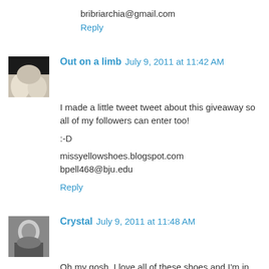bribriarchia@gmail.com
Reply
Out on a limb  July 9, 2011 at 11:42 AM
I made a little tweet tweet about this giveaway so all of my followers can enter too!

:-D

missyellowshoes.blogspot.com
bpell468@bju.edu
Reply
Crystal  July 9, 2011 at 11:48 AM
Oh my gosh. I love all of these shoes and I'm in big trouble now. lol

I like the Hassock in Grey the best though. I'm a size 9!